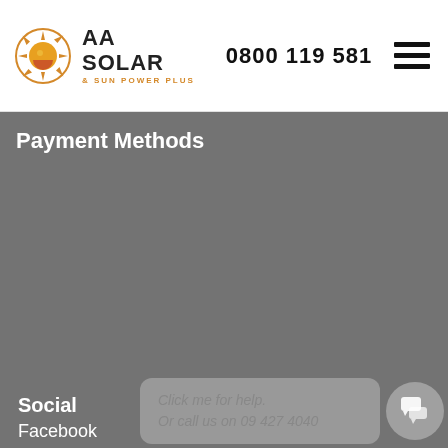AA SOLAR & SUN POWER PLUS — 0800 119 581
Payment Methods
Social
Facebook
Click me for help.
Or call us on 09 427 4040